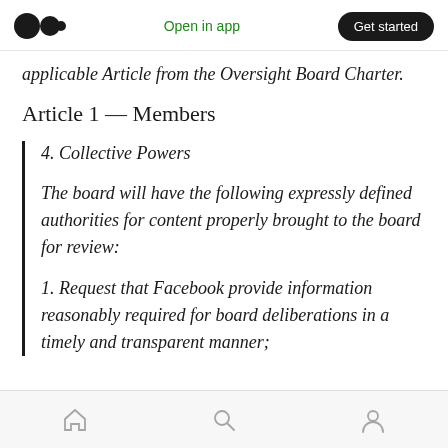Open in app | Get started
applicable Article from the Oversight Board Charter.
Article 1 — Members
4. Collective Powers
The board will have the following expressly defined authorities for content properly brought to the board for review:
1. Request that Facebook provide information reasonably required for board deliberations in a timely and transparent manner;
Home Search Profile